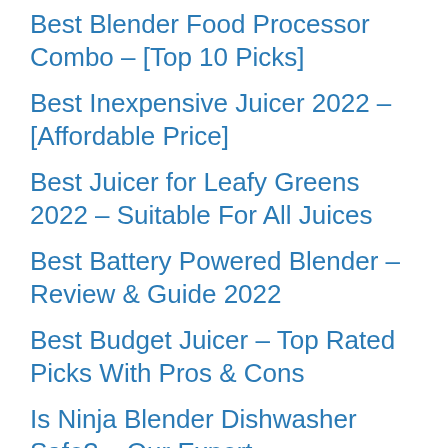Best Blender Food Processor Combo – [Top 10 Picks]
Best Inexpensive Juicer 2022 – [Affordable Price]
Best Juicer for Leafy Greens 2022 – Suitable For All Juices
Best Battery Powered Blender – Review & Guide 2022
Best Budget Juicer – Top Rated Picks With Pros & Cons
Is Ninja Blender Dishwasher Safe? – Our Expert